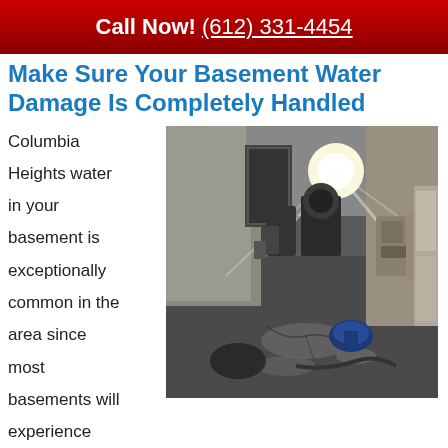Call Now! (612) 331-4454
Make Sure Your Basement Water Damage Is Completely Handled
Columbia Heights water in your basement is exceptionally common in the area since most basements will experience broken pipe water damage
[Figure (photo): Interior of a water-damaged basement with wet concrete floor, equipment and items stored along walls, bright light source visible in background]